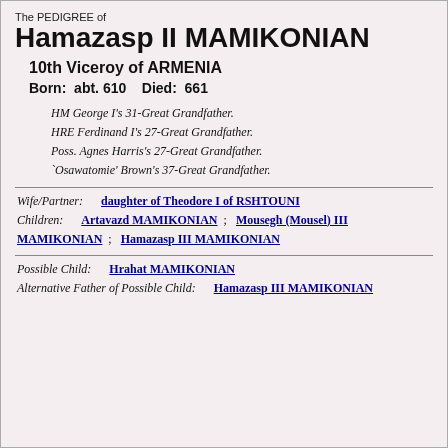The PEDIGREE of
Hamazasp II MAMIKONIAN
10th Viceroy of ARMENIA
Born: abt. 610   Died: 661
HM George I's 31-Great Grandfather.
HRE Ferdinand I's 27-Great Grandfather.
Poss. Agnes Harris's 27-Great Grandfather.
`Osawatomie' Brown's 37-Great Grandfather.
Wife/Partner: daughter of Theodore I of RSHTOUNI
Children: Artavazd MAMIKONIAN ; Mousegh (Mousel) III MAMIKONIAN ; Hamazasp III MAMIKONIAN
Possible Child: Hrahat MAMIKONIAN
Alternative Father of Possible Child: Hamazasp III MAMIKONIAN